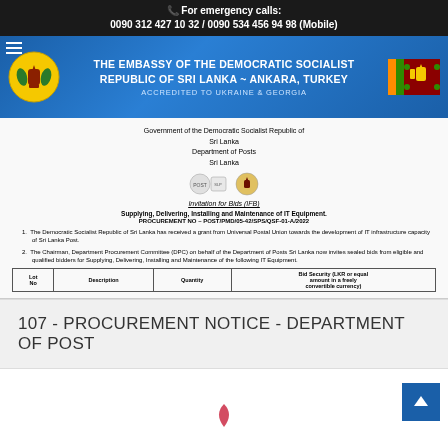For emergency calls: 0090 312 427 10 32 / 0090 534 456 94 98 (Mobile)
[Figure (logo): Embassy of the Democratic Socialist Republic of Sri Lanka - Ankara, Turkey website header banner with embassy seal on left, Sri Lanka flag on right, blue gradient background]
[Figure (screenshot): Scanned document: Government of the Democratic Socialist Republic of Sri Lanka, Department of Posts Sri Lanka. Invitation for Bids (IFB). Supplying, Delivering, Installing and Maintenance of IT Equipment. PROCUREMENT NO - POST/PMD/05-42/SPS/QSF-01-A/2022. Two numbered paragraphs and beginning of a table with columns: Lot No, Description, Quantity, Bid Security.]
107 - PROCUREMENT NOTICE - DEPARTMENT OF POST